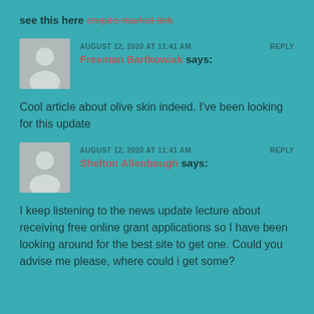see this here empire market link
AUGUST 12, 2020 AT 11:41 AM   REPLY
Freeman Bartkowiak says:
Cool article about olive skin indeed. I've been looking for this update
AUGUST 12, 2020 AT 11:41 AM   REPLY
Shelton Allenbaugh says:
I keep listening to the news update lecture about receiving free online grant applications so I have been looking around for the best site to get one. Could you advise me please, where could i get some?